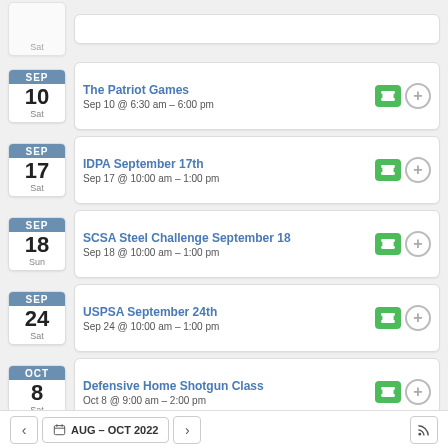Sat (partial top)
The Patriot Games
Sep 10 @ 6:30 am – 6:00 pm
SEP 10 Sat
IDPA September 17th
Sep 17 @ 10:00 am – 1:00 pm
SEP 17 Sat
SCSA Steel Challenge September 18
Sep 18 @ 10:00 am – 1:00 pm
SEP 18 Sun
USPSA September 24th
Sep 24 @ 10:00 am – 1:00 pm
SEP 24 Sat
Defensive Home Shotgun Class
Oct 8 @ 9:00 am – 2:00 pm
OCT 8 Sat
< AUG – OCT 2022 >